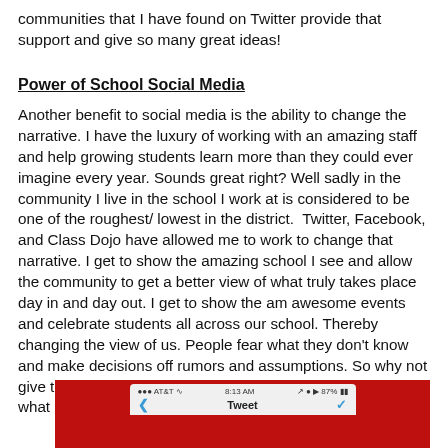communities that I have found on Twitter provide that support and give so many great ideas!
Power of School Social Media
Another benefit to social media is the ability to change the narrative. I have the luxury of working with an amazing staff and help growing students learn more than they could ever imagine every year. Sounds great right? Well sadly in the community I live in the school I work at is considered to be one of the roughest/ lowest in the district.  Twitter, Facebook, and Class Dojo have allowed me to work to change that narrative. I get to show the amazing school I see and allow the community to get a better view of what truly takes place day in and day out. I get to show the am awesome events and celebrate students all across our school. Thereby changing the view of us. People fear what they don't know and make decisions off rumors and assumptions. So why not give them the information they desire and share with them what really makes your school special?
[Figure (screenshot): Mobile phone screenshot showing a Tweet interface with AT&T carrier, 8:13 AM time, 87% battery, and a Tweet label, on a red background.]